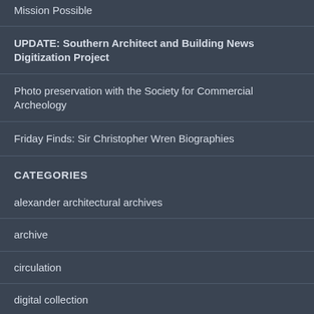Mission Possible
UPDATE: Southern Architect and Building News Digitization Project
Photo preservation with the Society for Commercial Archeology
Friday Finds: Sir Christopher Wren Biographies
CATEGORIES
alexander architectural archives
archive
circulation
digital collection
event
exhibition